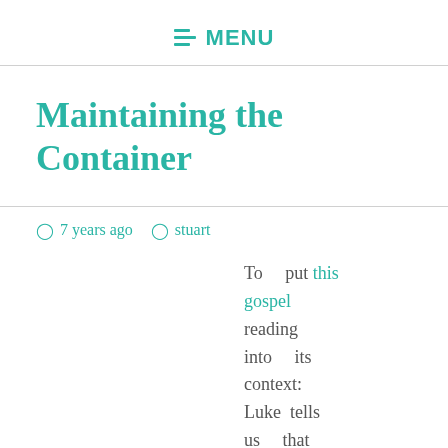MENU
Maintaining the Container
7 years ago  stuart
To put this gospel reading into its context: Luke tells us that